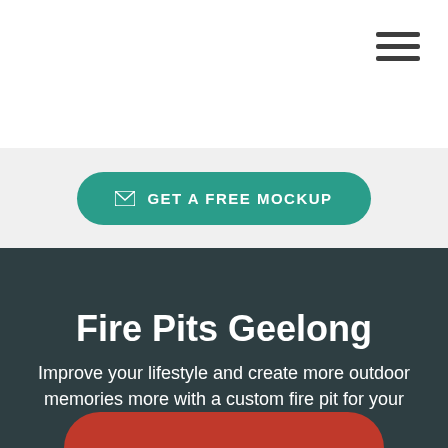[Figure (other): Hamburger menu icon (three horizontal lines) in top right corner]
✉ GET A FREE MOCKUP
Fire Pits Geelong
Improve your lifestyle and create more outdoor memories more with a custom fire pit for your Geelong home.